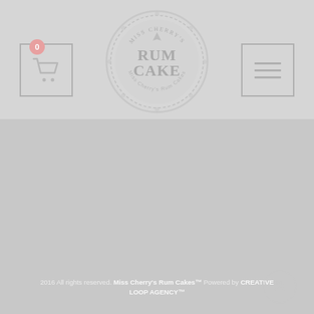[Figure (logo): Miss Cherry's Rum Cake circular logo with decorative snowflake border, text reads Miss Cherry's Rum Cake]
[Figure (other): Shopping cart icon in a square border with orange badge showing 0]
[Figure (other): Hamburger menu icon (three horizontal lines) in a square border]
2016 All rights reserved. Miss Cherry's Rum Cakes™ Powered by CREATIVE LOOP AGENCY™